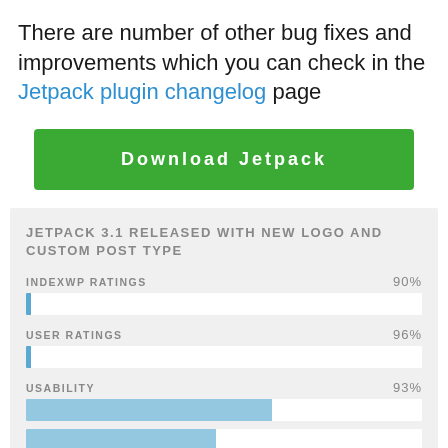There are number of other bug fixes and improvements which you can check in the Jetpack plugin changelog page
[Figure (other): Green download button with white text 'Download Jetpack']
JETPACK 3.1 RELEASED WITH NEW LOGO AND CUSTOM POST TYPE
[Figure (bar-chart): Ratings]